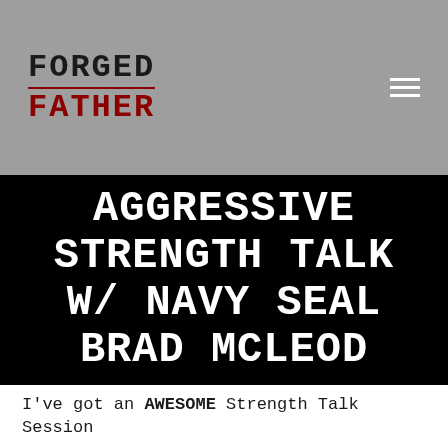FORGED FATHER
AGGRESSIVE STRENGTH TALK W/ NAVY SEAL BRAD MCLEOD
I've got an AWESOME Strength Talk Session